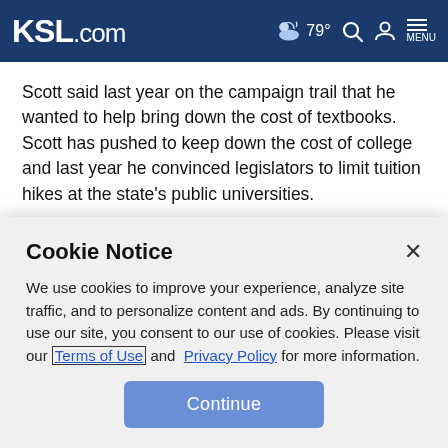KSL.com  79°  Search  Account  MENU
Scott said last year on the campaign trail that he wanted to help bring down the cost of textbooks. Scott has pushed to keep down the cost of college and last year he convinced legislators to limit tuition hikes at the state's public universities.
The Republican governor has pledged to cut taxes by $1
Cookie Notice
We use cookies to improve your experience, analyze site traffic, and to personalize content and ads. By continuing to use our site, you consent to our use of cookies. Please visit our Terms of Use and  Privacy Policy for more information.
Continue